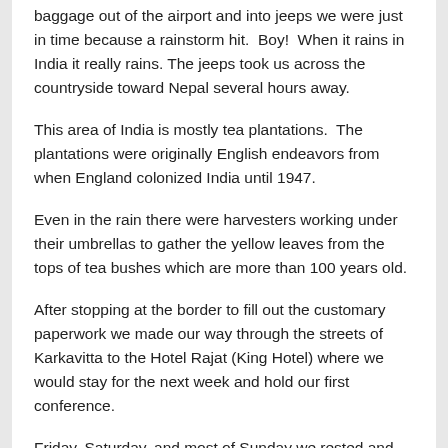baggage out of the airport and into jeeps we were just in time because a rainstorm hit.  Boy!  When it rains in India it really rains. The jeeps took us across the countryside toward Nepal several hours away.
This area of India is mostly tea plantations.  The plantations were originally English endeavors from when England colonized India until 1947.
Even in the rain there were harvesters working under their umbrellas to gather the yellow leaves from the tops of tea bushes which are more than 100 years old.
After stopping at the border to fill out the customary paperwork we made our way through the streets of Karkavitta to the Hotel Rajat (King Hotel) where we would stay for the next week and hold our first conference.
Friday, Saturday, and most of Sunday we rested and prepared for the conference.  Even though it was named the “King Hotel” we had friendly geckos to keep us company.  Well, at least they helped keep the bug...